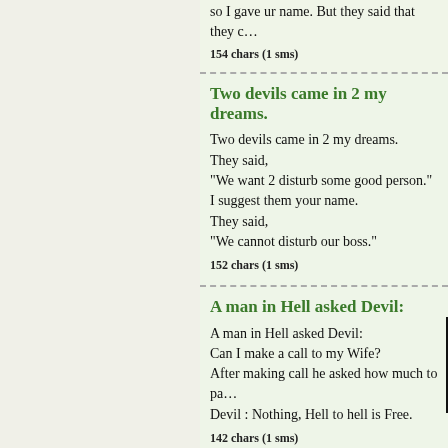so I gave ur name. But they said that they c…
154 chars (1 sms)
Two devils came in 2 my dreams.
Two devils came in 2 my dreams.
They said,
"We want 2 disturb some good person."
I suggest them your name.
They said,
"We cannot disturb our boss."
152 chars (1 sms)
A man in Hell asked Devil:
A man in Hell asked Devil:
Can I make a call to my Wife?
After making call he asked how much to pa…
Devil : Nothing, Hell to hell is Free.
142 chars (1 sms)
Two devils came in 2 my dreams.
Two devils came in 2 my dreams.
They said,
"We want 2 disturb some good person."